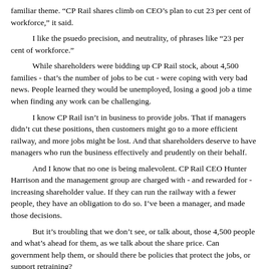familiar theme. “CP Rail shares climb on CEO’s plan to cut 23 per cent of workforce,” it said.
I like the psuedo precision, and neutrality, of phrases like “23 per cent of workforce.”
While shareholders were bidding up CP Rail stock, about 4,500 families - that’s the number of jobs to be cut - were coping with very bad news. People learned they would be unemployed, losing a good job a time when finding any work can be challenging.
I know CP Rail isn’t in business to provide jobs. That if managers didn’t cut these positions, then customers might go to a more efficient railway, and more jobs might be lost. And that shareholders deserve to have managers who run the business effectively and prudently on their behalf.
And I know that no one is being malevolent. CP Rail CEO Hunter Harrison and the management group are charged with - and rewarded for - increasing shareholder value. If they can run the railway with a fewer people, they have an obligation to do so. I’ve been a manager, and made those decisions.
But it’s troubling that we don’t see, or talk about, those 4,500 people and what’s ahead for them, as we talk about the share price. Can government help them, or should there be policies that protect the jobs, or support retraining?
I saw a lot of newspaper stories about Harrison’s plan to cut costs and jobs. But I didn’t read any stories about the family dead terrified by the prospect of unemployment, wondering how they would tell their kids that they had to move because they couldn’t make the mortgage.
Who does speak for those people?
And how did the social contract between good employers and good employees change so dramatically, without a public discussion?
My grandfather’s tenure with GE came at the end of an era. Celebrity CEO Jack Welch won great praise for chopping more than 100,000 jobs at the company in five